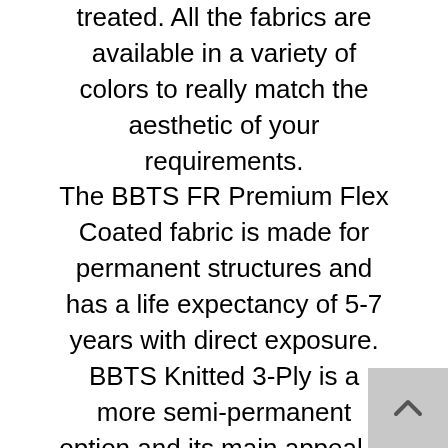treated. All the fabrics are available in a variety of colors to really match the aesthetic of your requirements. The BBTS FR Premium Flex Coated fabric is made for permanent structures and has a life expectancy of 5-7 years with direct exposure. BBTS Knitted 3-Ply is a more semi-permanent option and its main appeal is its inner water proof membrane and extra memory retention which allows the fabric to retain it's properties after numerous set ups. The BBT Lite 2 Ply PVC is a new product for temporary to semi-permanent structures with a life expectancy of around 2 years, it is lightweight and more affordable